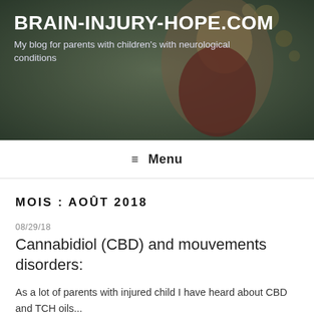[Figure (photo): Blog header banner showing a child dressed as Spider-Man being hugged, with dark overlay and forest/bokeh background]
BRAIN-INJURY-HOPE.COM
My blog for parents with children's with neurological conditions
≡  Menu
MOIS : AOÛT 2018
08/29/18
Cannabidiol (CBD) and mouvements disorders:
As a lot of parents with injured child I have heard about CBD and TCH oils...
so what I did: I found who is doing scientific studies